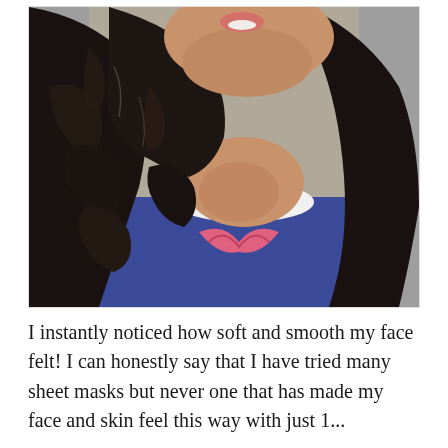[Figure (photo): A close-up photo of a young woman with long, dark, curly/wavy wet hair. She is wearing a navy blue shirt with a pink ribbon design and a white collar. Her face is partially visible at the top of the frame.]
I instantly noticed how soft and smooth my face felt! I can honestly say that I have tried many sheet masks but never one that has made my face and skin feel this way with just 1...